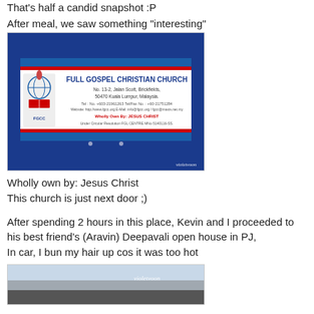That's half a candid snapshot :P
After meal, we saw something "interesting"
[Figure (photo): Photo of a sign for Full Gospel Christian Church, No. 13-2, Jalan Scott, Brickfields, 50470 Kuala Lumpur, Malaysia. The sign includes FGCC logo and text 'Wholly Own By: JESUS CHRIST'. Watermark: violetvoon.]
Wholly own by: Jesus Christ
This church is just next door ;)
After spending 2 hours in this place, Kevin and I proceeded to his best friend's (Aravin) Deepavali open house in PJ, In car, I bun my hair up cos it was too hot
[Figure (photo): Partial photo visible at bottom of page, with violetvoon watermark.]